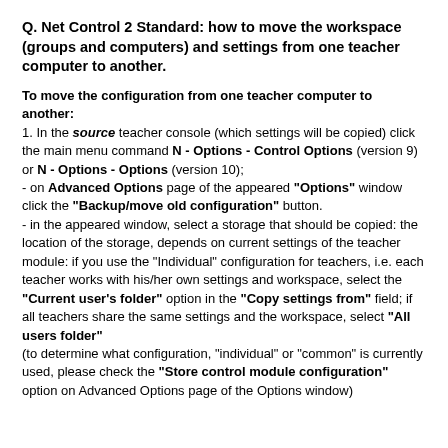Q. Net Control 2 Standard: how to move the workspace (groups and computers) and settings from one teacher computer to another.
To move the configuration from one teacher computer to another:
1. In the source teacher console (which settings will be copied) click the main menu command N - Options - Control Options (version 9) or N - Options - Options (version 10);
- on Advanced Options page of the appeared "Options" window click the "Backup/move old configuration" button.
- in the appeared window, select a storage that should be copied: the location of the storage, depends on current settings of the teacher module: if you use the "Individual" configuration for teachers, i.e. each teacher works with his/her own settings and workspace, select the "Current user's folder" option in the "Copy settings from" field; if all teachers share the same settings and the workspace, select "All users folder"
(to determine what configuration, "individual" or "common" is currently used, please check the "Store control module configuration" option on Advanced Options page of the Options window)